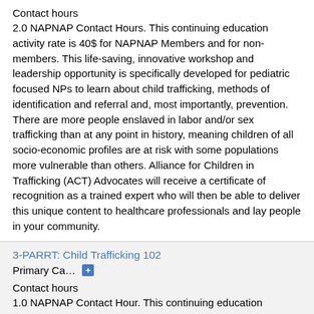Contact hours
2.0 NAPNAP Contact Hours. This continuing education activity rate is 40$ for NAPNAP Members and for non-members. This life-saving, innovative workshop and leadership opportunity is specifically developed for pediatric focused NPs to learn about child trafficking, methods of identification and referral and, most importantly, prevention. There are more people enslaved in labor and/or sex trafficking than at any point in history, meaning children of all socio-economic profiles are at risk with some populations more vulnerable than others. Alliance for Children in Trafficking (ACT) Advocates will receive a certificate of recognition as a trained expert who will then be able to deliver this unique content to healthcare professionals and lay people in your community.
3-PARRT: Child Trafficking 102
Primary Ca… +
Contact hours
1.0 NAPNAP Contact Hour. This continuing education